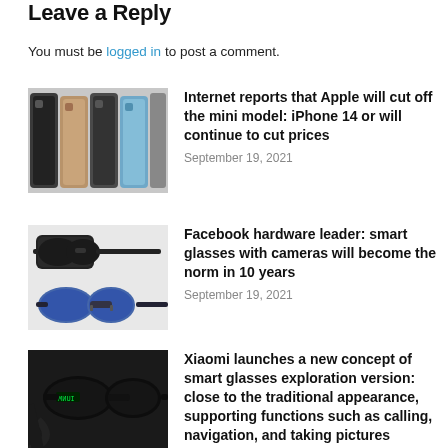Leave a Reply
You must be logged in to post a comment.
[Figure (photo): Multiple iPhone 13 models shown side by side in different colors]
Internet reports that Apple will cut off the mini model: iPhone 14 or will continue to cut prices
September 19, 2021
[Figure (photo): Two pairs of smart glasses – one black wayfarer style, one round blue tinted]
Facebook hardware leader: smart glasses with cameras will become the norm in 10 years
September 19, 2021
[Figure (photo): Dark smart glasses on a dark surface with green LED display visible]
Xiaomi launches a new concept of smart glasses exploration version: close to the traditional appearance, supporting functions such as calling, navigation, and taking pictures